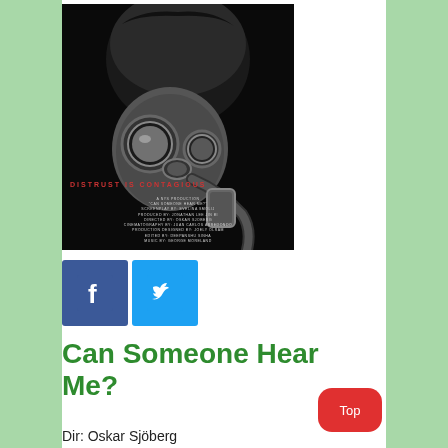[Figure (photo): Movie poster for 'Can Someone Hear Me?' showing a person wearing a gas mask against a dark background. Text reads 'DISTRUST IS CONTAGIOUS' in red. Small production credits at the bottom in light text.]
[Figure (logo): Facebook logo icon (white f on blue background) and Twitter bird logo icon (white bird on light blue background)]
Can Someone Hear Me?
Dir: Oskar Sjöberg